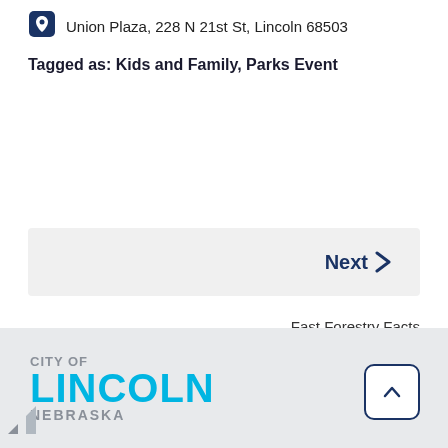Union Plaza, 228 N 21st St, Lincoln 68503
Tagged as: Kids and Family, Parks Event
Next >
Fast Forestry Facts
CITY OF LINCOLN NEBRASKA